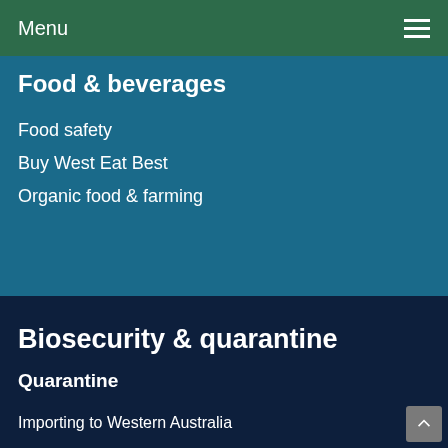Menu
Food & beverages
Food safety
Buy West Eat Best
Organic food & farming
Biosecurity & quarantine
Quarantine
Importing to Western Australia
Exporting from Western Australia
Intrastate movement
Quality assurance schemes